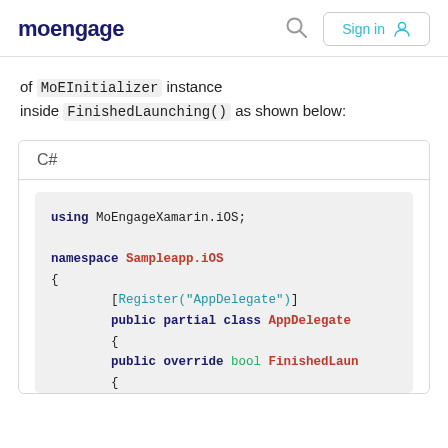moengage  Sign in
of MoEInitializer instance inside FinishedLaunching() as shown below:
[Figure (screenshot): C# code block showing: using MoEngageXamarin.iOS; namespace Sampleapp.iOS { [Register("AppDelegate")] public partial class AppDelegate { public override bool FinishedLaun { ]
C#